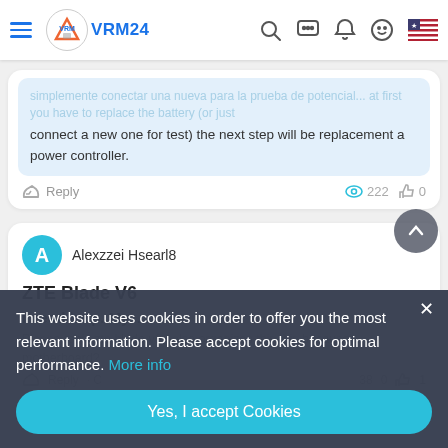[Figure (screenshot): VRM24 website navigation bar with hamburger menu, logo, search, chat, notification, emoji, and flag icons]
connect a new one for test) the next step will be replacement a power controller.
Reply  222  0
Alexzzei Hsearl8
ZTE Blade V6
I need help. My...
This website uses cookies in order to offer you the most relevant information. Please accept cookies for optimal performance. More info
Yes, I accept Cookies